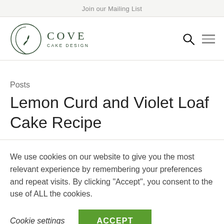Join our Mailing List
[Figure (logo): Cove Cake Design logo with circular leaf emblem and text]
Posts
Lemon Curd and Violet Loaf Cake Recipe
We use cookies on our website to give you the most relevant experience by remembering your preferences and repeat visits. By clicking “Accept”, you consent to the use of ALL the cookies.
Cookie settings   ACCEPT